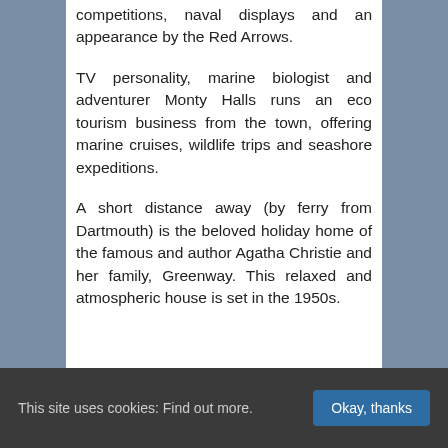competitions, naval displays and an appearance by the Red Arrows.
TV personality, marine biologist and adventurer Monty Halls runs an eco tourism business from the town, offering marine cruises, wildlife trips and seashore expeditions.
A short distance away (by ferry from Dartmouth) is the beloved holiday home of the famous and author Agatha Christie and her family, Greenway. This relaxed and atmospheric house is set in the 1950s.
This site uses cookies: Find out more. Okay, thanks